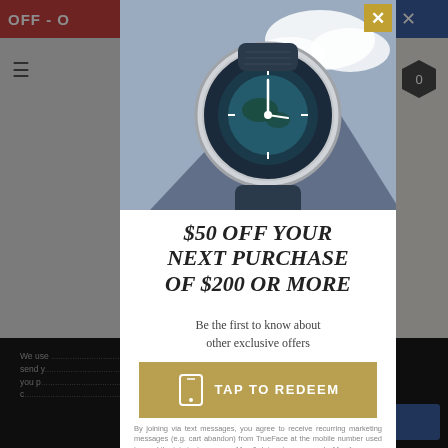[Figure (screenshot): Background: e-commerce website showing watch products with red header bar, hamburger menu, gray nav, hexagon cart icon on right, product listing for TAG Heuer watch at $3,377, black footer with cookie consent text.]
[Figure (photo): Modal popup showing a luxury Omega Aqua Terra World Timer watch with blue/teal dial and dark blue rubber strap, displayed against a sky-and-geometric background.]
$50 OFF YOUR NEXT PURCHASE OF $200 OR MORE
Be the first to know about other exclusive offers
TAP TO REDEEM
By joining via text messages, you agree to receive recurring marketing messages (e.g. cart abandon) from TrueFace at the mobile number used to send the join text message. Msg & data rates may apply. Msg frequency varies. Consent is not a